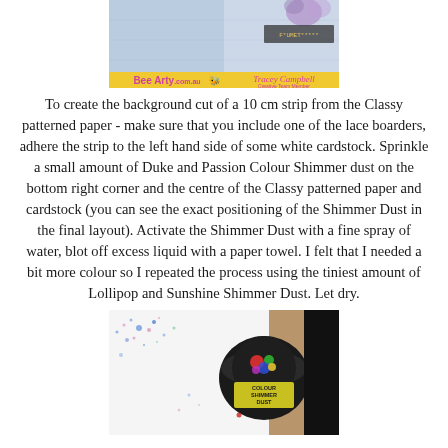[Figure (photo): Craft project photo showing a decorative mixed media background with 'Bee Arty' and 'Tracey Campbell Creative Team Member' text/banner at the bottom of the artwork.]
To create the background cut of a 10 cm strip from the Classy patterned paper - make sure that you include one of the lace boarders, adhere the strip to the left hand side of some white cardstock. Sprinkle a small amount of Duke and Passion Colour Shimmer dust on the bottom right corner and the centre of the Classy patterned paper and cardstock (you can see the exact positioning of the Shimmer Dust in the final layout). Activate the Shimmer Dust with a fine spray of water, blot off excess liquid with a paper towel. I felt that I needed a bit more colour so I repeated the process using the tiniest amount of Lollipop and Sunshine Shimmer Dust. Let dry.
[Figure (photo): Photo of a small round jar of Colour Shimmer Dust sitting on a white surface with colorful shimmer dust (blue, pink, green) scattered on paper next to it.]